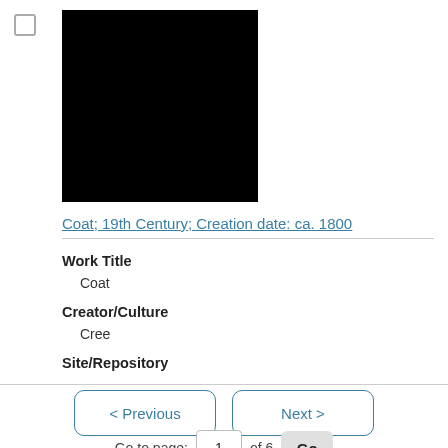[Figure (photo): Black square placeholder image for a coat artifact]
Coat; 19th Century; Creation date: ca. 1800
Work Title
Coat
Creator/Culture
Cree
Site/Repository
< Previous   Next >   Go to page: 1 of 6  Go